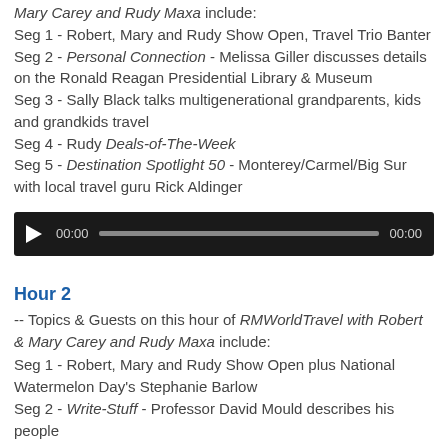Seg 1 - Robert, Mary and Rudy Show Open, Travel Trio Banter
Seg 2 - Personal Connection - Melissa Giller discusses details on the Ronald Reagan Presidential Library & Museum
Seg 3 - Sally Black talks multigenerational grandparents, kids and grandkids travel
Seg 4 - Rudy Deals-of-The-Week
Seg 5 - Destination Spotlight 50 - Monterey/Carmel/Big Sur with local travel guru Rick Aldinger
[Figure (other): Audio player with play button, progress bar, and timestamps showing 00:00]
Hour 2
-- Topics & Guests on this hour of RMWorldTravel with Robert & Mary Carey and Rudy Maxa include:
Seg 1 - Robert, Mary and Rudy Show Open plus National Watermelon Day's Stephanie Barlow
Seg 2 - Write-Stuff - Professor David Mould describes his people